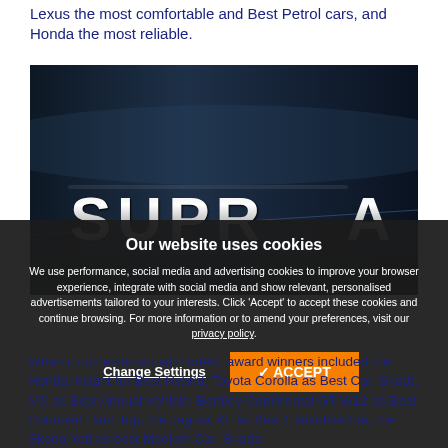Lexus the most comfortable and Best Petrol cars, and Honda the most reliable.
[Figure (photo): Close-up photo of the rear of a dark blue car showing chrome 'SUPRA' lettering on the trunk lid]
Our website uses cookies
We use performance, social media and advertising cookies to improve your browser experience, integrate with social media and show relevant, personalised advertisements tailored to your interests. Click 'Accept' to accept these cookies and continue browsing. For more information or to amend your preferences, visit our privacy policy.
When it comes to actual models, award winners included the Honda Insight for Best Hybrid, Toyota Corolla as Best Car, Skoda MX as Best Annual Vehicle, Bentley Continental GT W12 as Best Cabriolet Hard Top, the Jaguar XF as Best Executive Car, the Skoda Yeti as Best Medium Car, Skoda...